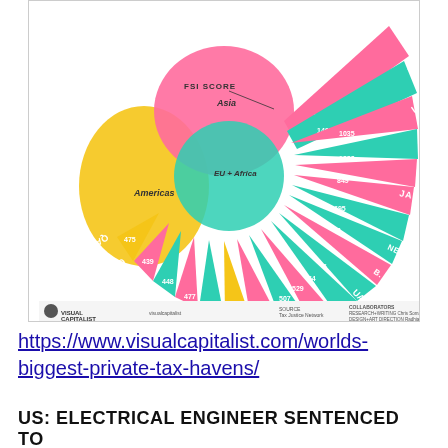[Figure (infographic): A radial/fan infographic titled with FSI SCORE showing the world's biggest private tax havens. Countries are shown as colored fan segments radiating outward from a world map at the center. Countries include Hong Kong, Singapore, Luxembourg, Japan, Netherlands, B. Virgin Islands, UAE, Guernsey, UK, Taiwan, Germany, Jersey, Bahamas, Thailand, Malta, Canada, Qatar and others. Segments are colored pink/magenta, teal/cyan, and gold/yellow. Each segment shows a country flag and FSI score number. The map regions are labeled Asia, Americas, EU+Africa. Source: Tax Justice Network. Visual Capitalist branding at bottom.]
https://www.visualcapitalist.com/worlds-biggest-private-tax-havens/
US: ELECTRICAL ENGINEER SENTENCED TO